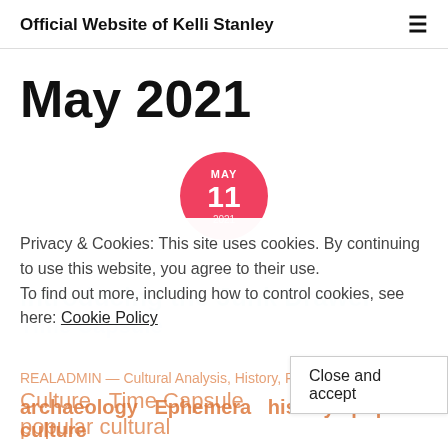Official Website of Kelli Stanley
May 2021
[Figure (other): Red circular calendar badge showing MAY 11 2021]
Privacy & Cookies: This site uses cookies. By continuing to use this website, you agree to their use.
To find out more, including how to control cookies, see here: Cookie Policy
Introducing the Junk Drawer Time Capsule
REALADMIN — Cultural Analysis, History, Pop Culture, Time Capsule, popular cultural archaeology, Ephemera, history, popular culture